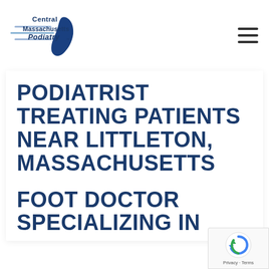[Figure (logo): Central Massachusetts Podiatry logo with blue text and stylized foot/speed lines graphic]
PODIATRIST TREATING PATIENTS NEAR LITTLETON, MASSACHUSETTS
FOOT DOCTOR SPECIALIZING IN